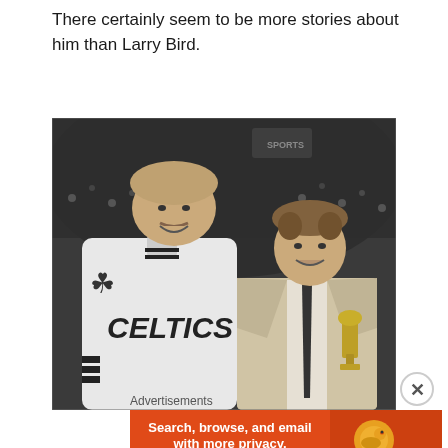There certainly seem to be more stories about him than Larry Bird.
[Figure (photo): Black and white photograph of Larry Bird in a Celtics jersey posing with another man in a suit who is holding a trophy, in front of a crowd at an arena.]
Advertisements
[Figure (other): DuckDuckGo advertisement banner: Search, browse, and email with more privacy. All in One Free App]